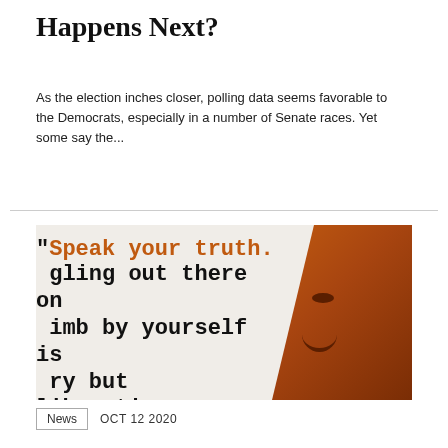Happens Next?
As the election inches closer, polling data seems favorable to the Democrats, especially in a number of Senate races. Yet some say the...
[Figure (photo): A photo/poster showing a quote: "Speak your truth. [str]gling out there on [a l]imb by yourself is [sca]ry but liberating. Be that person." with orange text for 'Speak your truth.' and an orange-toned portrait of a smiling woman on the right side.]
News   OCT 12 2020